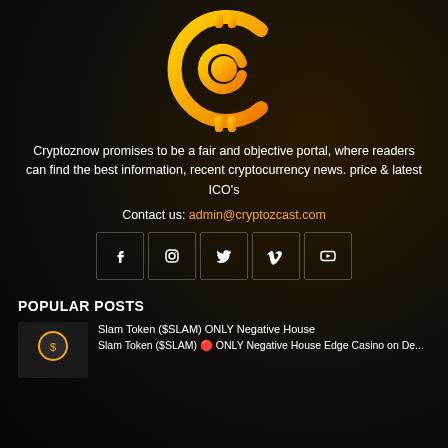[Figure (logo): Cryptoznow cryptocurrency logo — orange circular C-shape with plug/coin symbol]
Cryptoznow promises to be a fair and objective portal, where readers can find the best information, recent cryptocurrency news. price & latest ICO's
Contact us: admin@cryptozcast.com
[Figure (infographic): Social media icons row: Facebook, Instagram, Twitter, Vimeo, YouTube — white icons in bordered square boxes]
POPULAR POSTS
Slam Token ($SLAM) ONLY Negative House
Slam Token ($SLAM) 🔴 ONLY Negative House Edge Casino on De...